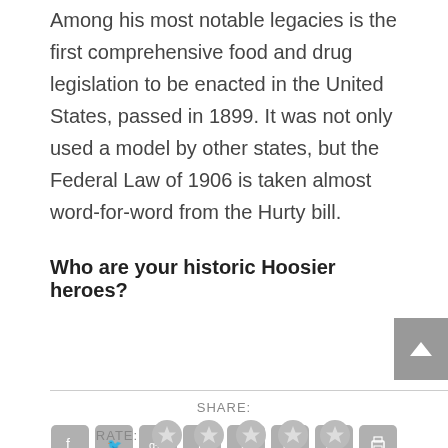Among his most notable legacies is the first comprehensive food and drug legislation to be enacted in the United States, passed in 1899. It was not only used a model by other states, but the Federal Law of 1906 is taken almost word-for-word from the Hurty bill.
Who are your historic Hoosier heroes?
[Figure (other): Social sharing icons: Facebook, Twitter, Google+, Tumblr, Pinterest, LinkedIn, Email, Print. Rate section with 5 star icons.]